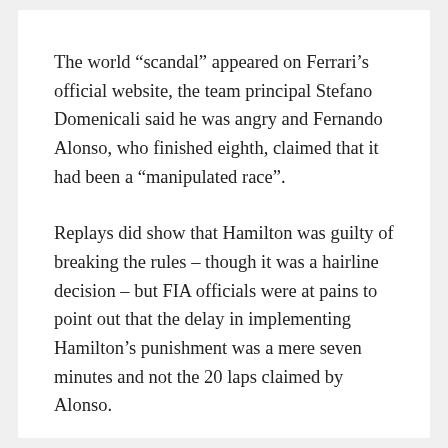The world “scandal” appeared on Ferrari’s official website, the team principal Stefano Domenicali said he was angry and Fernando Alonso, who finished eighth, claimed that it had been a “manipulated race”.
Replays did show that Hamilton was guilty of breaking the rules – though it was a hairline decision – but FIA officials were at pains to point out that the delay in implementing Hamilton’s punishment was a mere seven minutes and not the 20 laps claimed by Alonso.